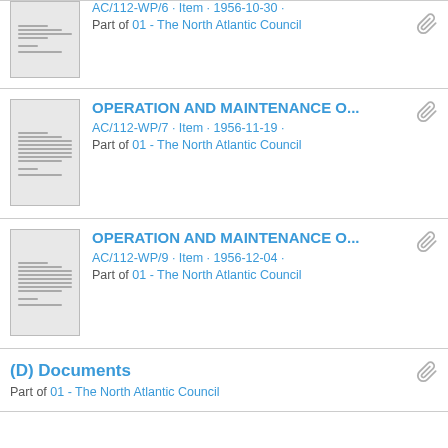AC/112-WP/6 · Item · 1956-10-30 · Part of 01 - The North Atlantic Council
OPERATION AND MAINTENANCE O... AC/112-WP/7 · Item · 1956-11-19 · Part of 01 - The North Atlantic Council
OPERATION AND MAINTENANCE O... AC/112-WP/9 · Item · 1956-12-04 · Part of 01 - The North Atlantic Council
(D) Documents Part of 01 - The North Atlantic Council